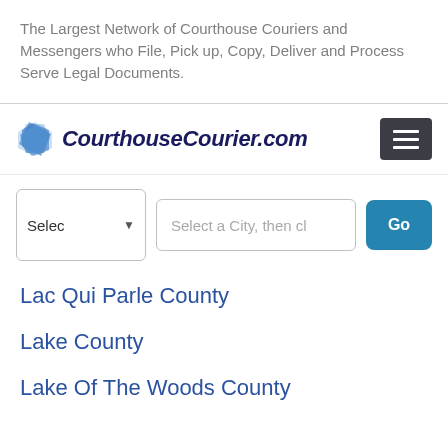The Largest Network of Courthouse Couriers and Messengers who File, Pick up, Copy, Deliver and Process Serve Legal Documents.
[Figure (logo): CourthouseCourier.com logo with blue diamond/document icon and bold italic dark navy text]
Select a City, then cl (search form with dropdown, city input, and Go button)
Lac Qui Parle County
Lake County
Lake Of The Woods County